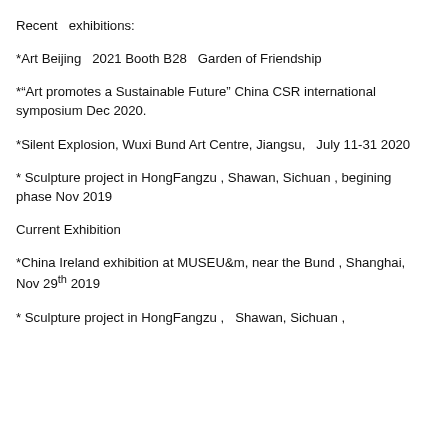Recent  exhibitions:
*Art Beijing  2021 Booth B28  Garden of Friendship
*"Art promotes a Sustainable Future" China CSR international symposium Dec 2020.
*Silent Explosion, Wuxi Bund Art Centre, Jiangsu,  July 11-31 2020
* Sculpture project in HongFangzu , Shawan, Sichuan , begining phase Nov 2019
Current Exhibition
*China Ireland exhibition at MUSEU&m, near the Bund , Shanghai, Nov 29th 2019
* Sculpture project in HongFangzu ,  Shawan, Sichuan ,